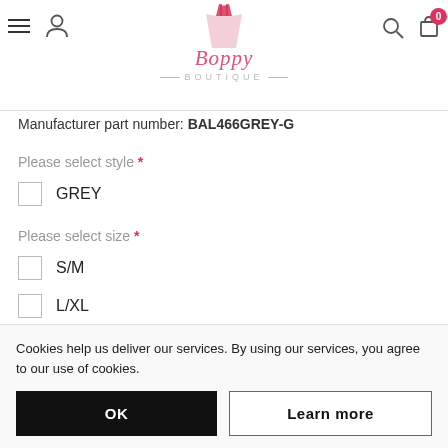Boutique website header with navigation icons and logo
Manufacturer part number: BAL466GREY-G
Please select style *
GREY (checkbox)
Please select size *
S/M (checkbox)
L/XL (checkbox)
Please check our sizing guide for more information
Cookies help us deliver our services. By using our services, you agree to our use of cookies.
OK  Learn more